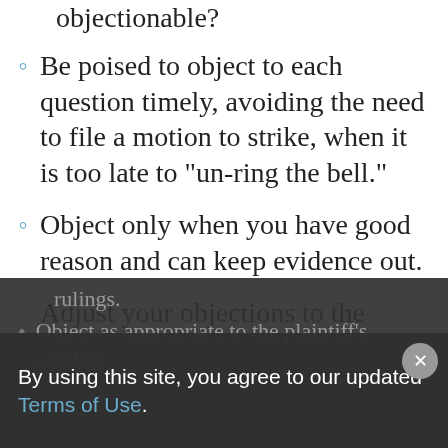Listen to each question carefully — is it objectionable? (partial, top of page)
Be poised to object to each question timely, avoiding the need to file a motion to strike, when it is too late to “un-ring the bell.”
Object only when you have good reason and can keep evidence out.
Adjust your objections to the judge’s rulings.
Object as appropriate to the plaintiff’s exhibits. (partially visible)
By using this site, you agree to our updated Terms of Use.